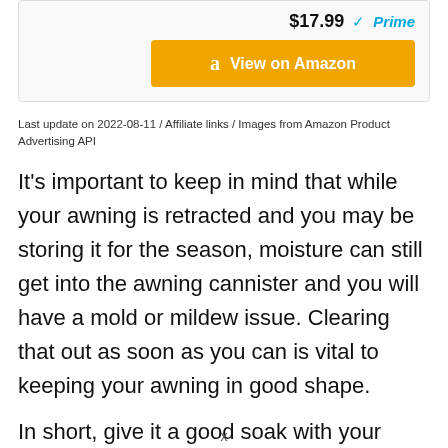[Figure (screenshot): Amazon product card showing price $17.99 with Prime logo and 'View on Amazon' orange button]
Last update on 2022-08-11 / Affiliate links / Images from Amazon Product Advertising API
It’s important to keep in mind that while your awning is retracted and you may be storing it for the season, moisture can still get into the awning cannister and you will have a mold or mildew issue. Clearing that out as soon as you can is vital to keeping your awning in good shape.
In short, give it a good soak with your cleaning